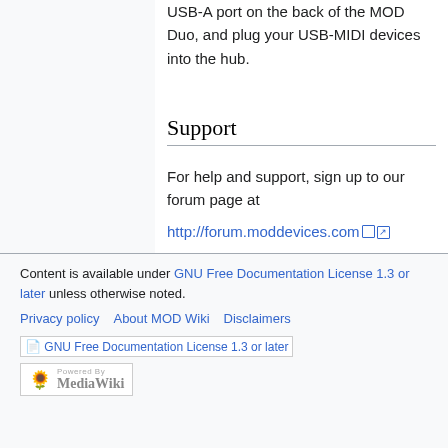USB-A port on the back of the MOD Duo, and plug your USB-MIDI devices into the hub.
Support
For help and support, sign up to our forum page at http://forum.moddevices.com
Might be also good to checkout the Troubleshooting page, in case your issue has been solved already.
Content is available under GNU Free Documentation License 1.3 or later unless otherwise noted.
Privacy policy · About MOD Wiki · Disclaimers
[Figure (logo): GNU Free Documentation License 1.3 or later badge]
[Figure (logo): Powered by MediaWiki badge with sunflower icon]